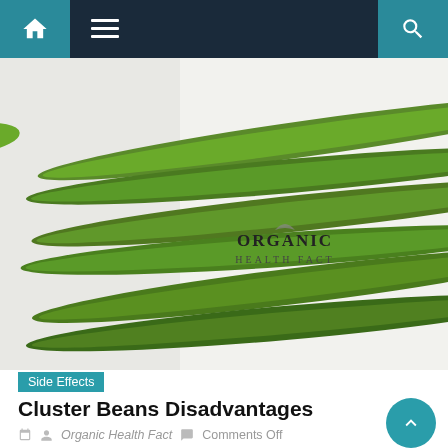Navigation bar with home, menu, and search icons
[Figure (photo): Green cluster beans (guar beans) arranged on a white background with 'ORGANIC HEALTH FACT' logo watermark]
Side Effects
Cluster Beans Disadvantages
Organic Health Fact   Comments Off
Think about whether or not this is really the best supplement to rely on for your entire diet. Let's put a halt to these thoughts right here. Cluster Beans, like any other natural food item, have their share of drawbacks.